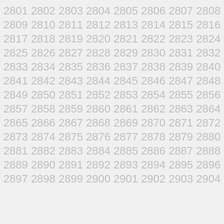2801 2802 2803 2804 2805 2806 2807 2808
2809 2810 2811 2812 2813 2814 2815 2816
2817 2818 2819 2820 2821 2822 2823 2824
2825 2826 2827 2828 2829 2830 2831 2832
2833 2834 2835 2836 2837 2838 2839 2840
2841 2842 2843 2844 2845 2846 2847 2848
2849 2850 2851 2852 2853 2854 2855 2856
2857 2858 2859 2860 2861 2862 2863 2864
2865 2866 2867 2868 2869 2870 2871 2872
2873 2874 2875 2876 2877 2878 2879 2880
2881 2882 2883 2884 2885 2886 2887 2888
2889 2890 2891 2892 2893 2894 2895 2896
2897 2898 2899 2900 2901 2902 2903 2904